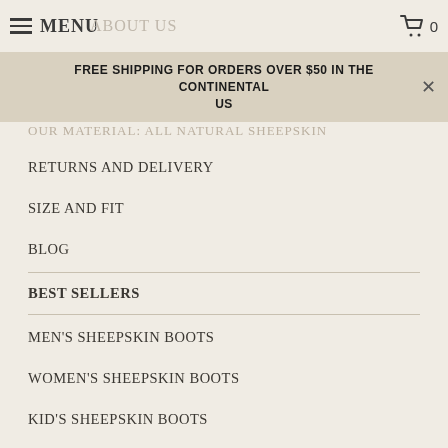MENU  ABOUT US  🛒 0
FREE SHIPPING FOR ORDERS OVER $50 IN THE CONTINENTAL US
OUR MATERIAL: ALL NATURAL SHEEPSKIN
RETURNS AND DELIVERY
SIZE AND FIT
BLOG
BEST SELLERS
MEN'S SHEEPSKIN BOOTS
WOMEN'S SHEEPSKIN BOOTS
KID'S SHEEPSKIN BOOTS
SHEEPSKIN RUGS
MEN'S SHEEPSKIN MOCCASINS
WOMEN'S SHEEPSKIN MOCCASINS